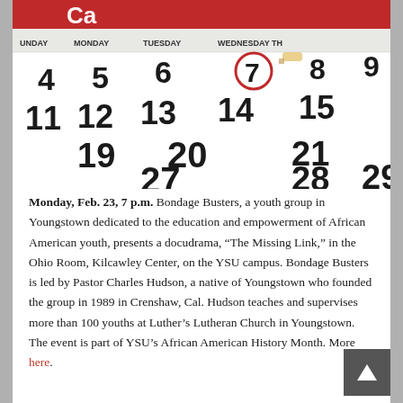[Figure (photo): Close-up photograph of a paper calendar with large black numbers. The number 7 is circled in red. Day headers visible: UNDAY, MONDAY, TUESDAY, WEDNESDAY. Numbers visible include 4, 5, 6, 7, 8, 9, 11, 12, 13, 14, 15, 19, 20, 21, 27, 28, 29. A pencil eraser is visible near the 7. Top of calendar shows red banner with partial text 'Ca' and partial day headers.]
Monday, Feb. 23, 7 p.m. Bondage Busters, a youth group in Youngstown dedicated to the education and empowerment of African American youth, presents a docudrama, “The Missing Link,” in the Ohio Room, Kilcawley Center, on the YSU campus. Bondage Busters is led by Pastor Charles Hudson, a native of Youngstown who founded the group in 1989 in Crenshaw, Cal. Hudson teaches and supervises more than 100 youths at Luther’s Lutheran Church in Youngstown. The event is part of YSU’s African American History Month. More here.